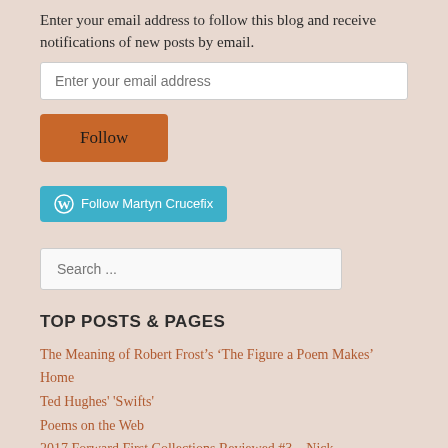Enter your email address to follow this blog and receive notifications of new posts by email.
Enter your email address
Follow
Follow Martyn Crucefix
Search ...
TOP POSTS & PAGES
The Meaning of Robert Frost’s ‘The Figure a Poem Makes’
Home
Ted Hughes' 'Swifts'
Poems on the Web
2017 Forward First Collections Reviewed #3 – Nick